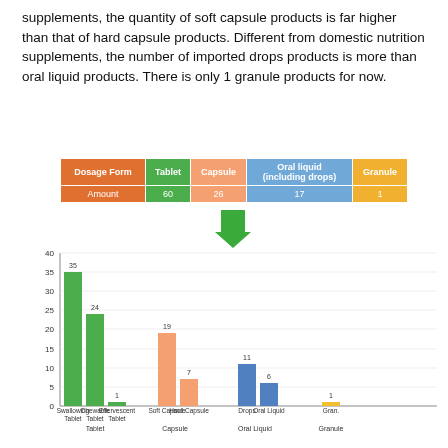supplements, the quantity of soft capsule products is far higher than that of hard capsule products. Different from domestic nutrition supplements, the number of imported drops products is more than oral liquid products. There is only 1 granule products for now.
| Dosage Form | Tablet | Capsule | Oral liquid (including drops) | Granule |
| --- | --- | --- | --- | --- |
| Amount | 60 | 26 | 17 | 1 |
[Figure (bar-chart): ]